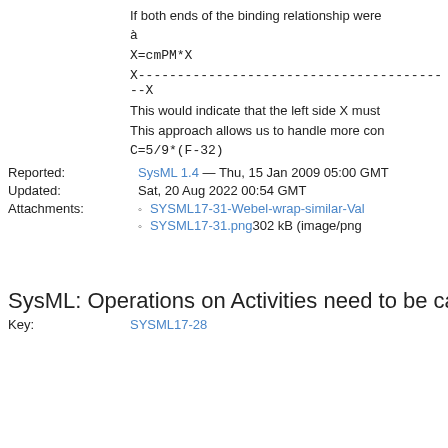If both ends of the binding relationship were
This would indicate that the left side X must
This approach allows us to handle more con
Reported: SysML 1.4 — Thu, 15 Jan 2009 05:00 GMT
Updated: Sat, 20 Aug 2022 00:54 GMT
SYSML17-31-Webel-wrap-similar-Val
SYSML17-31.png 302 kB (image/png
SysML: Operations on Activities need to be calla
Key: SYSML17-28